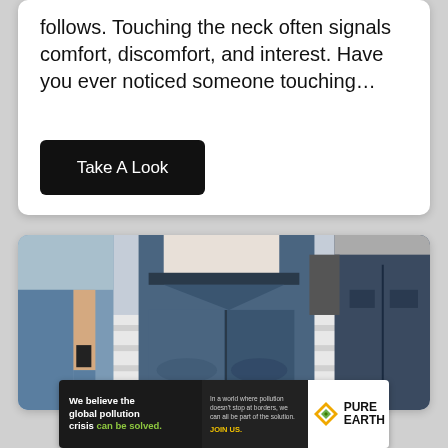follows. Touching the neck often signals comfort, discomfort, and interest. Have you ever noticed someone touching…
Take A Look
[Figure (photo): Photo of three people from waist down, wearing jeans, standing together]
We believe the global pollution crisis can be solved. In a world where pollution doesn't stop at borders, we can all be part of the solution. JOIN US. PURE EARTH